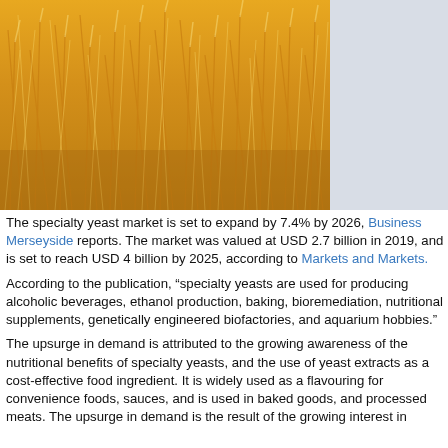[Figure (photo): Close-up photograph of golden wheat or barley stalks, filling the left portion of the image area. Right side has a light grey sidebar.]
The specialty yeast market is set to expand by 7.4% by 2026, Business Merseyside reports. The market was valued at USD 2.7 billion in 2019, and is set to reach USD 4 billion by 2025, according to Markets and Markets.
According to the publication, “specialty yeasts are used for producing alcoholic beverages, ethanol production, baking, bioremediation, nutritional supplements, genetically engineered biofactories, and aquarium hobbies."
The upsurge in demand is attributed to the growing awareness of the nutritional benefits of specialty yeasts, and the use of yeast extracts as a cost-effective food ingredient. It is widely used as a flavouring for convenience foods, sauces, and is used in baked goods, and processed meats. The upsurge in demand is the result of the growing interest in...